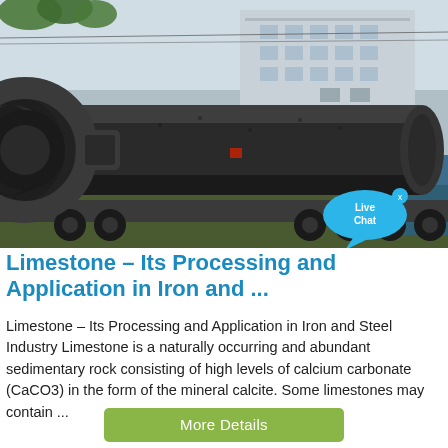[Figure (photo): Large industrial cylindrical ball mill or rotary kiln loaded on a flatbed truck, with a multi-story industrial building in the background. The equipment is very large, dark grey/black, with circular flanges. Trees are visible at the top. A 'Live Chat' speech bubble overlay is in the bottom-right corner of the photo.]
Limestone – Its Processing and Application in Iron and ...
Limestone – Its Processing and Application in Iron and Steel Industry Limestone is a naturally occurring and abundant sedimentary rock consisting of high levels of calcium carbonate (CaCO3) in the form of the mineral calcite. Some limestones may contain ...
More Details